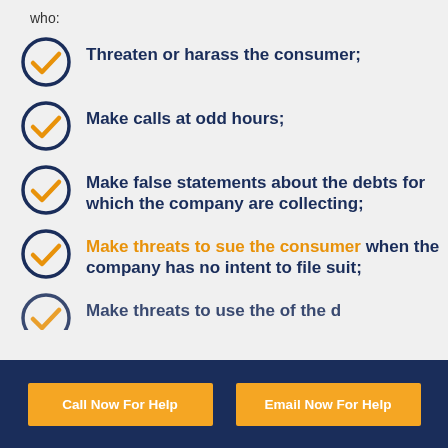who:
Threaten or harass the consumer;
Make calls at odd hours;
Make false statements about the debts for which the company are collecting;
Make threats to sue the consumer when the company has no intent to file suit;
Call Now For Help   Email Now For Help